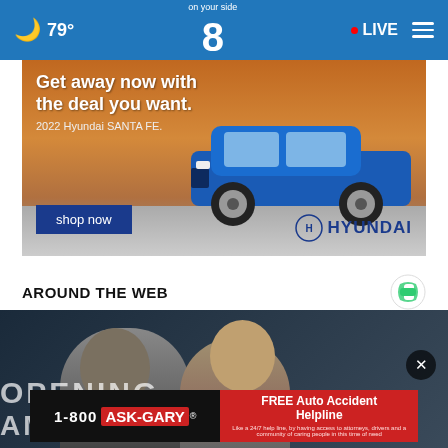🌙 79° | News Channel 8 on your side | • LIVE | ☰
[Figure (photo): Hyundai Santa FE 2022 advertisement: blue SUV with text 'Get away now with the deal you want. 2022 Hyundai SANTA FE.' and a 'shop now' button and Hyundai logo]
AROUND THE WEB
[Figure (photo): News image showing two people at what appears to be a press conference or official event, with 'OPENING' and 'AMER...' text visible in the background]
[Figure (photo): 1-800 ASK-GARY advertisement banner with text 'FREE Auto Accident Helpline']